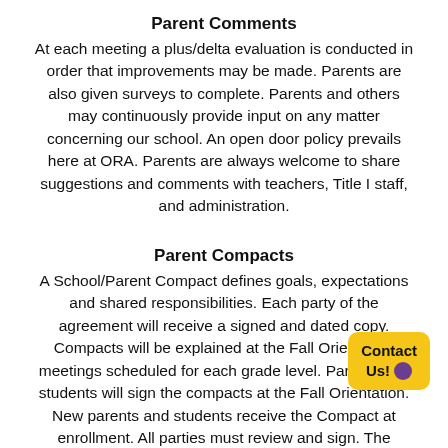Parent Comments
At each meeting a plus/delta evaluation is conducted in order that improvements may be made. Parents are also given surveys to complete. Parents and others may continuously provide input on any matter concerning our school. An open door policy prevails here at ORA. Parents are always welcome to share suggestions and comments with teachers, Title I staff, and administration.
Parent Compacts
A School/Parent Compact defines goals, expectations and shared responsibilities. Each party of the agreement will receive a signed and dated copy. Compacts will be explained at the Fall Orientation meetings scheduled for each grade level. Parents and students will sign the compacts at the Fall Orientation. New parents and students receive the Compact at enrollment. All parties must review and sign. The Compact will be reviewed during Parent-Teacher Conferences. The Compact is used as part of the collaboration effort between parent and